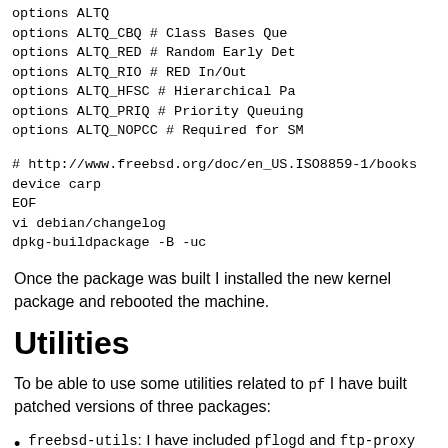options ALTQ
options ALTQ_CBQ # Class Bases Que...
options ALTQ_RED # Random Early Det...
options ALTQ_RIO # RED In/Out
options ALTQ_HFSC # Hierarchical Pa...
options ALTQ_PRIQ # Priority Queuing...
options ALTQ_NOPCC # Required for SMP...
# http://www.freebsd.org/doc/en_US.ISO8859-1/books...
device       carp
EOF
vi debian/changelog
dpkg-buildpackage -B -uc
Once the package was built I installed the new kernel package and rebooted the machine.
Utilities
To be able to use some utilities related to pf I have built patched versions of three packages:
freebsd-utils: I have included pflogd and ftp-proxy on the package and have added some options to allow the use of additional interface types with ifconfig (carp, pfsync, lagg, bridges...